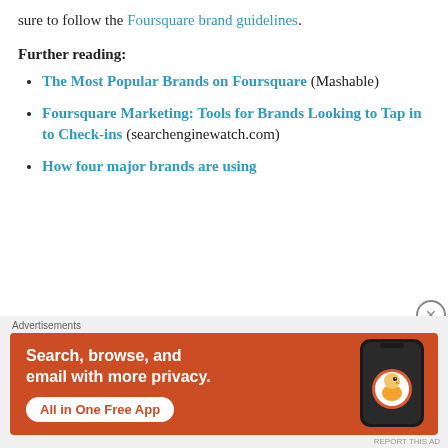sure to follow the Foursquare brand guidelines.
Further reading:
The Most Popular Brands on Foursquare (Mashable)
Foursquare Marketing: Tools for Brands Looking to Tap in to Check-ins (searchenginewatch.com)
How four major brands are using
[Figure (screenshot): DuckDuckGo advertisement banner with orange background. Text reads: Search, browse, and email with more privacy. All in One Free App. Shows a phone with the DuckDuckGo logo.]